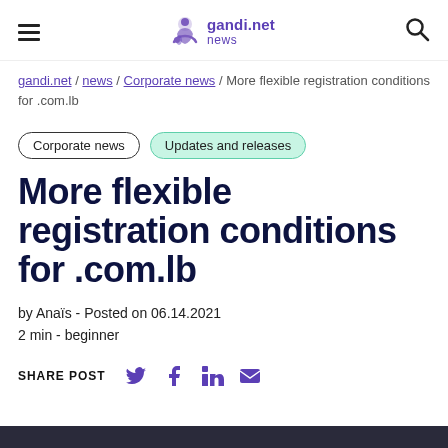gandi.net news
gandi.net / news / Corporate news / More flexible registration conditions for .com.lb
Corporate news   Updates and releases
More flexible registration conditions for .com.lb
by Anaïs  -  Posted on 06.14.2021
2 min  -  beginner
SHARE POST